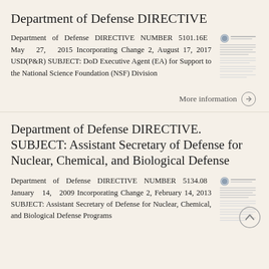Department of Defense DIRECTIVE
Department of Defense DIRECTIVE NUMBER 5101.16E May 27, 2015 Incorporating Change 2, August 17, 2017 USD(P&R) SUBJECT: DoD Executive Agent (EA) for Support to the National Science Foundation (NSF) Division
[Figure (other): Thumbnail image of a Department of Defense Directive document cover page]
More information →
Department of Defense DIRECTIVE. SUBJECT: Assistant Secretary of Defense for Nuclear, Chemical, and Biological Defense
Department of Defense DIRECTIVE NUMBER 5134.08 January 14, 2009 Incorporating Change 2, February 14, 2013 SUBJECT: Assistant Secretary of Defense for Nuclear, Chemical, and Biological Defense Programs
[Figure (other): Thumbnail image of a Department of Defense Directive document cover page]